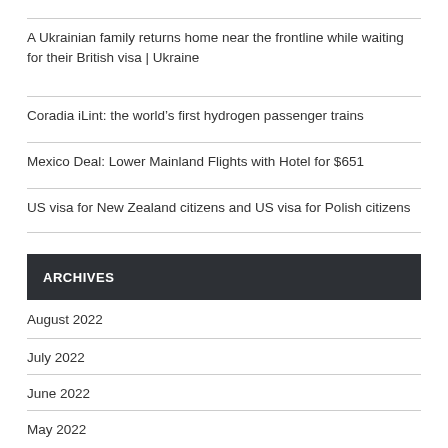A Ukrainian family returns home near the frontline while waiting for their British visa | Ukraine
Coradia iLint: the world’s first hydrogen passenger trains
Mexico Deal: Lower Mainland Flights with Hotel for $651
US visa for New Zealand citizens and US visa for Polish citizens
ARCHIVES
August 2022
July 2022
June 2022
May 2022